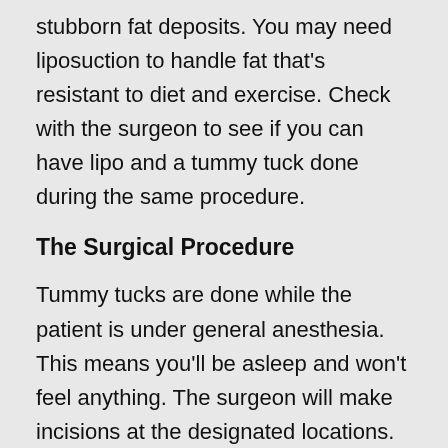stubborn fat deposits. You may need liposuction to handle fat that's resistant to diet and exercise. Check with the surgeon to see if you can have lipo and a tummy tuck done during the same procedure.
The Surgical Procedure
Tummy tucks are done while the patient is under general anesthesia. This means you'll be asleep and won't feel anything. The surgeon will make incisions at the designated locations. The excess belly skin is trimmed and the incision is closed. Proper...